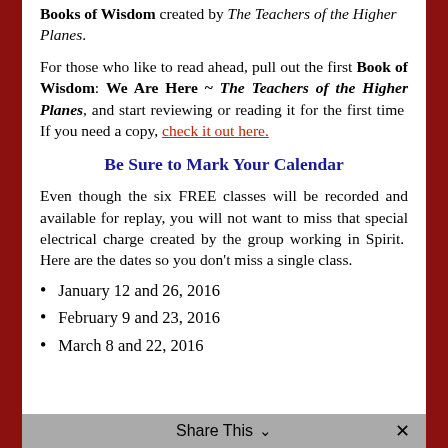Books of Wisdom created by The Teachers of the Higher Planes.
For those who like to read ahead, pull out the first Book of Wisdom: We Are Here ~ The Teachers of the Higher Planes, and start reviewing or reading it for the first time  If you need a copy, check it out here.
Be Sure to Mark Your Calendar
Even though the six FREE classes will be recorded and available for replay, you will not want to miss that special electrical charge created by the group working in Spirit.  Here are the dates so you don't miss a single class.
January 12 and 26, 2016
February 9 and 23, 2016
March 8 and 22, 2016
Share This ∨  ×